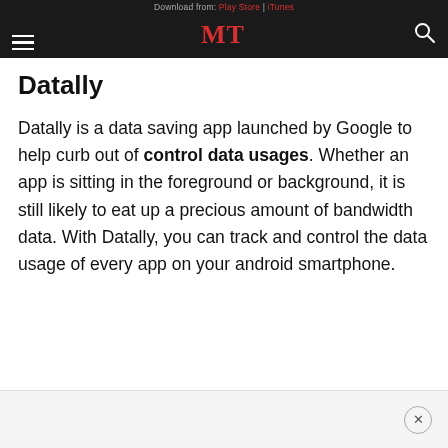Download from: Play Store | iTunes  MT
Datally
Datally is a data saving app launched by Google to help curb out of control data usages. Whether an app is sitting in the foreground or background, it is still likely to eat up a precious amount of bandwidth data. With Datally, you can track and control the data usage of every app on your android smartphone.